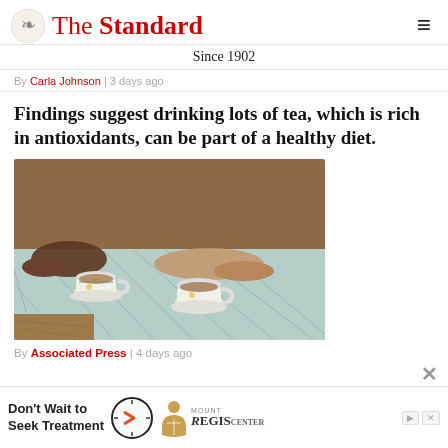The Standard — Since 1902
By Carla Johnson | 3 days ago
Findings suggest drinking lots of tea, which is rich in antioxidants, can be part of a healthy diet.
[Figure (photo): Two people sitting at a table with two teacups on a decorative tablecloth, hands visible reaching toward the cups.]
By Associated Press | 4 days ago
[Figure (infographic): Advertisement banner: Don't Wait to Seek Treatment — Mount Regis Center, with a clock graphic.]